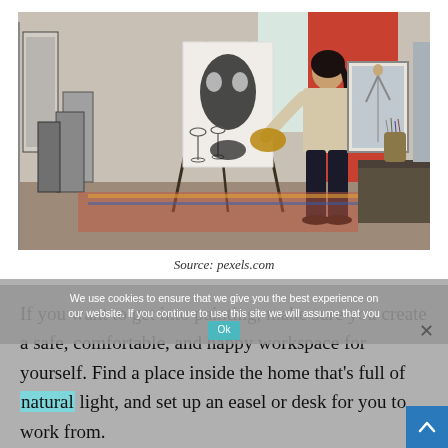[Figure (photo): An artist (woman with dark hair in a ponytail, wearing a cream sweater and black pants) painting at an easel in an art studio filled with canvases, paintings, and art supplies. The room has large windows and a worktable on the right side.]
Source: pexels.com
We use cookies to ensure that we give you the best experience on our website. If you continue to use this site we will assume that you Ok
If you want to get into painting, make sure you create a safe, comfortable, and happy workspace for yourself. Find a place inside the home that's full of natural light, and set up an easel or desk for you to work from.